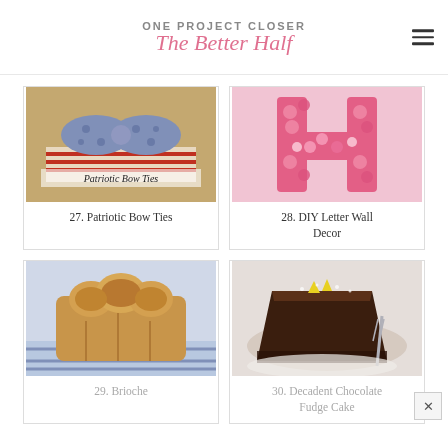ONE PROJECT CLOSER The Better Half
[Figure (photo): Patriotic bow ties made from blue polka dot and red striped fabric on a wicker background]
27. Patriotic Bow Ties
[Figure (photo): Pink crocheted letter H wall decor made of yarn flowers]
28. DIY Letter Wall Decor
[Figure (photo): Golden brown brioche bread loaf on a blue and white checkered cloth]
29. Brioche
[Figure (photo): Slice of decadent chocolate fudge cake on a white plate with a fork]
30. Decadent Chocolate Fudge Cake